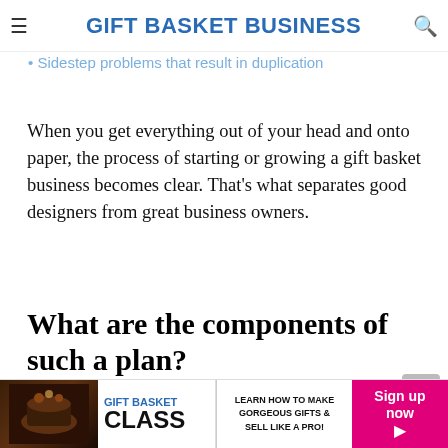GIFT BASKET BUSINESS
Determine design styles before buying inventory
Sidestep problems that result in duplication
When you get everything out of your head and onto paper, the process of starting or growing a gift basket business becomes clear. That's what separates good designers from great business owners.
What are the components of such a plan?
The sections you include depend on what's most important. Some areas you might focus on are:
[Figure (infographic): Advertisement banner for Gift Basket Class featuring a dark photo of gift baskets, text 'GIFT BASKET CLASS - LEARN HOW TO MAKE GORGEOUS GIFTS & SELL LIKE A PRO!', and a pink 'Sign up now' button with arrow.]